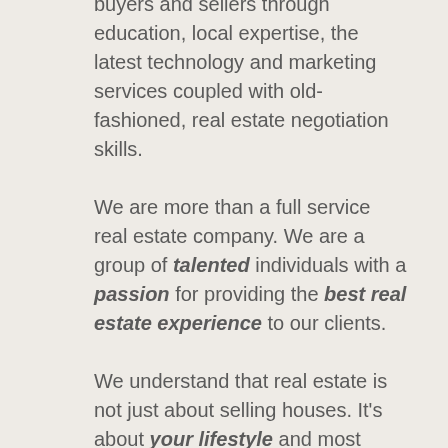buyers and sellers through education, local expertise, the latest technology and marketing services coupled with old-fashioned, real estate negotiation skills.

We are more than a full service real estate company. We are a group of talented individuals with a passion for providing the best real estate experience to our clients.

We understand that real estate is not just about selling houses. It's about your lifestyle and most importantly your goals.

We specialize in selling homes in Pasadena, Altadena, San Marino, Arcadia, South Pasadena, Eagle Rock, Monrovia, Highland Park, Sierra Madre, La Canada...